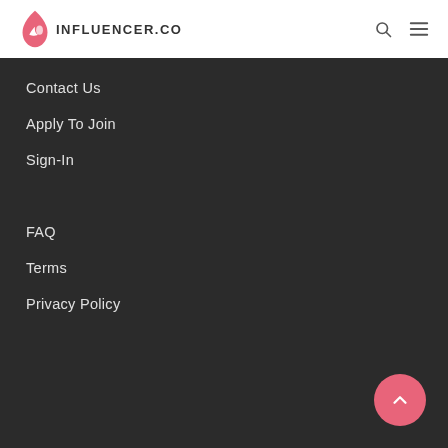INFLUENCER.CO
Contact Us
Apply To Join
Sign-In
FAQ
Terms
Privacy Policy